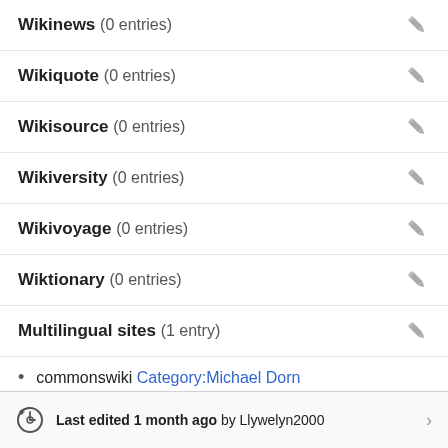Wikinews (0 entries)
Wikiquote (0 entries)
Wikisource (0 entries)
Wikiversity (0 entries)
Wikivoyage (0 entries)
Wiktionary (0 entries)
Multilingual sites (1 entry)
commonswiki Category:Michael Dorn
Last edited 1 month ago by Llywelyn2000